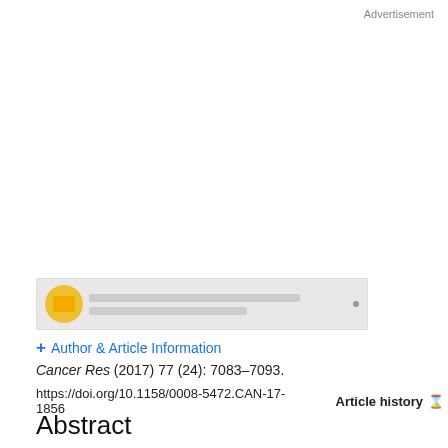Advertisement
[Figure (other): Advertisement banner placeholder with partial image showing a yellow circular icon]
+ Author & Article Information
Cancer Res (2017) 77 (24): 7083–7093.
https://doi.org/10.1158/0008-5472.CAN-17-1856    Article history ⊙
Abstract
Therapeutic strategies using anti–PD-1–blocking antibodies reported unparalleled effectiveness for melanoma immunotherapy, but deciphering immune This site uses cookies. By continuing to use our website, you are agreeing to our privacy policy. Accept s of the large Melan-A–specific T-cell repertoire in the peripheral blood of 9 melanoma patients before and